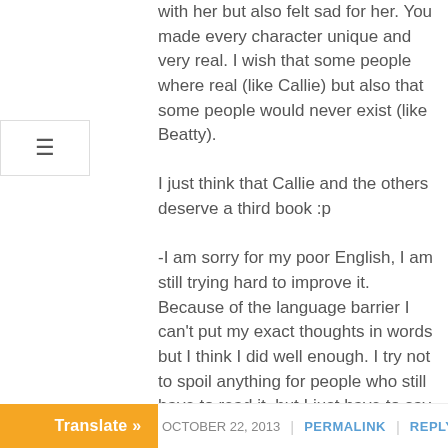with her but also felt sad for her. You made every character unique and very real. I wish that some people where real (like Callie) but also that some people would never exist (like Beatty).
I just think that Callie and the others deserve a third book :p
-I am sorry for my poor English, I am still trying hard to improve it. Because of the language barrier I can't put my exact thoughts in words but I think I did well enough. I try not to spoil anything for people who still have to read it, but I just have to say that I loved the new character you introduced in Enders 🙂
And for anyone who reads this and hasn't read Enders yet: it is definitely worth the wait! I am sure everyone will love it.
Thank you Lissa, for these two amazing books 🙂
OCTOBER 22, 2013  |  PERMALINK  |  REPLY